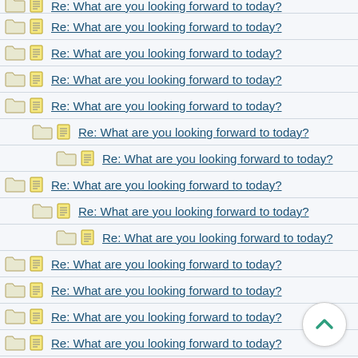Re: What are you looking forward to today?
Re: What are you looking forward to today?
Re: What are you looking forward to today?
Re: What are you looking forward to today?
Re: What are you looking forward to today?
Re: What are you looking forward to today?
Re: What are you looking forward to today?
Re: What are you looking forward to today?
Re: What are you looking forward to today?
Re: What are you looking forward to today?
Re: What are you looking forward to today?
Re: What are you looking forward to today?
Re: What are you looking forward to today?
Re: What are you looking forward to today?
Re: What are you looking forward to today?